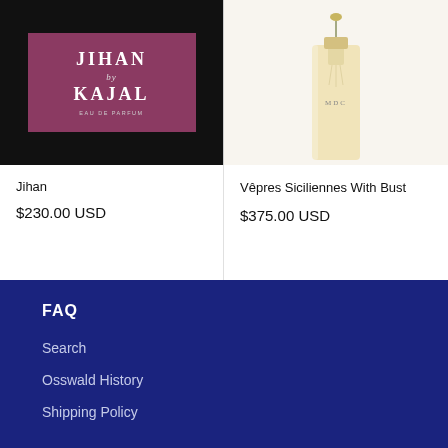[Figure (photo): Jihan by Kajal perfume box — black box with purple/mauve label reading JIHAN by KAJAL, Eau de Parfum]
[Figure (photo): Vêpres Siciliennes With Bust perfume bottle — tall clear glass bottle with gold tassel cap, light amber liquid, MDC lettering on bottle]
Jihan
$230.00 USD
Vêpres Siciliennes With Bust
$375.00 USD
FAQ
Search
Osswald History
Shipping Policy